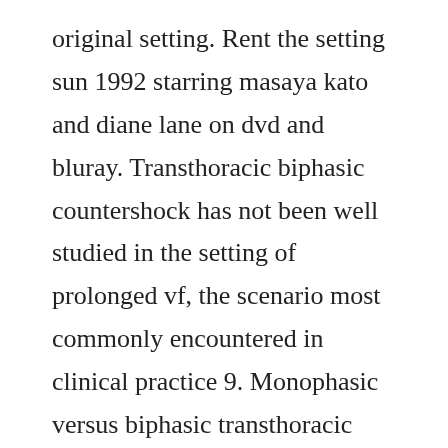original setting. Rent the setting sun 1992 starring masaya kato and diane lane on dvd and bluray. Transthoracic biphasic countershock has not been well studied in the setting of prolonged vf, the scenario most commonly encountered in clinical practice 9. Monophasic versus biphasic transthoracic countershock after. A japanese soldier is forced to question alliances when he meets and.
Found at the start of a japanese vhs release of destiny to order 1989. If you want scores